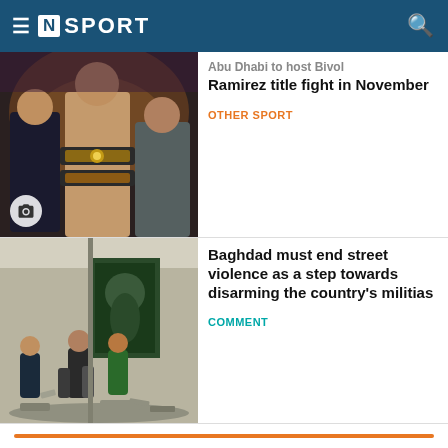[N] SPORT
[Figure (photo): Boxer holding championship belts with supporters]
Abu Dhabi to host Bivol Ramirez title fight in November
OTHER SPORT
[Figure (photo): Street protest scene in Baghdad with people running]
Baghdad must end street violence as a step towards disarming the country's militias
COMMENT
NEWSLETTERS
Checking In (Thursdays)